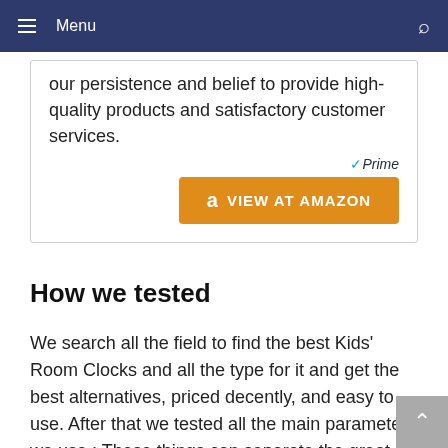Menu
our persistence and belief to provide high-quality products and satisfactory customer services.
[Figure (screenshot): Amazon Prime logo and VIEW AT AMAZON button in orange]
How we tested
We search all the field to find the best Kids' Room Clocks and all the type for it and get the best alternatives, priced decently, and easy to use. After that we tested all the main parameters we use : These things can separate the great Kids' Room Clocks from the good.